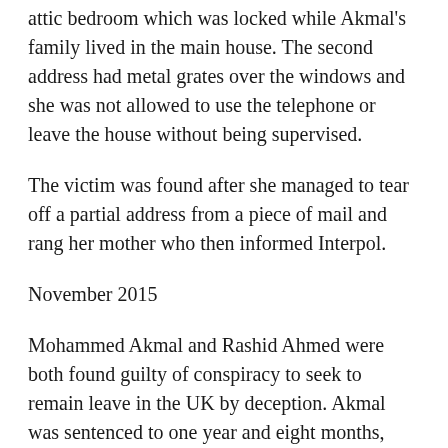attic bedroom which was locked while Akmal's family lived in the main house. The second address had metal grates over the windows and she was not allowed to use the telephone or leave the house without being supervised.
The victim was found after she managed to tear off a partial address from a piece of mail and rang her mother who then informed Interpol.
November 2015
Mohammed Akmal and Rashid Ahmed were both found guilty of conspiracy to seek to remain leave in the UK by deception. Akmal was sentenced to one year and eight months, whilst Ahmed was sentenced to just nine months imprisonment.
Hanan Butt and Jekaterina Ostrovska both pleaded